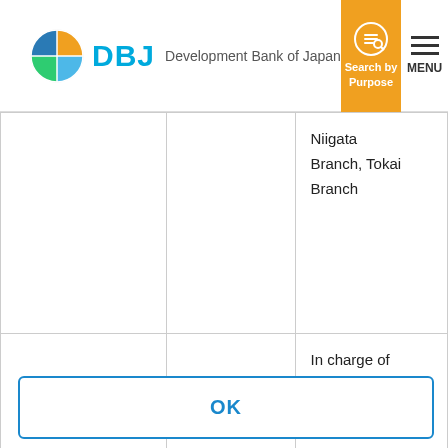DBJ Development Bank of Japan
|  |  |  |
| --- | --- | --- |
|  |  | Niigata Branch, Tokai Branch |
| Managing Executive |  | In charge of Corporate |
DBJ uses cookies to maintain and improve the convenience and quality of our website. Refer to our cookies policy to learn how we use cookies. Press the OK button if you accept how we use cookies. If you do not accept how we use cookies, please disable the cookies settings in your browser. See cookies policy >
OK